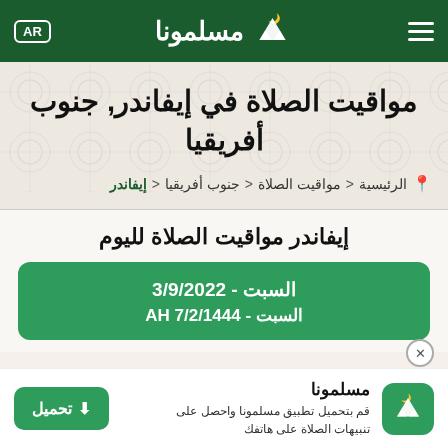مسلمونا AR
مواقيت الصلاة في إيفاندر, جنوب أفريقيا
📍 الرئيسية > مواقيت الصلاة > جنوب أفريقيا > إيفاندر
إيفاندر مواقيت الصلاة لليوم
السبت - 3/9/2022
7/2/1444 AH السبت
[Figure (screenshot): App download banner for مسلمونا (Muslimona) app with download button and app icon]